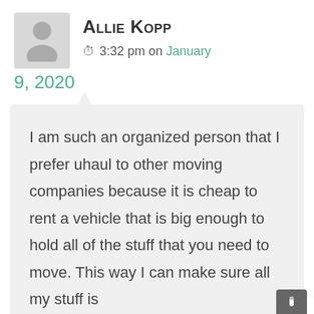[Figure (illustration): User avatar placeholder image — grey silhouette of a person on a light grey background]
Allie Kopp
3:32 pm on January 9, 2020
I am such an organized person that I prefer uhaul to other moving companies because it is cheap to rent a vehicle that is big enough to hold all of the stuff that you need to move. This way I can make sure all my stuff is